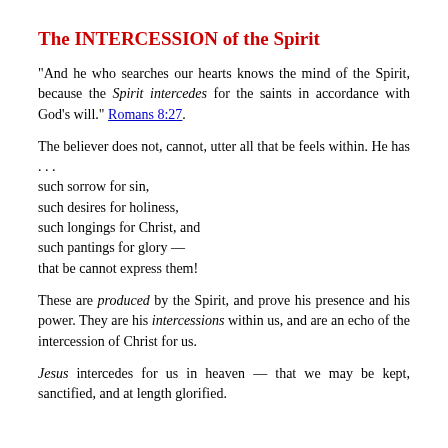The INTERCESSION of the Spirit
"And he who searches our hearts knows the mind of the Spirit, because the Spirit intercedes for the saints in accordance with God's will." Romans 8:27.
The believer does not, cannot, utter all that be feels within. He has . . .
such sorrow for sin,
such desires for holiness,
such longings for Christ, and
such pantings for glory —
that be cannot express them!
These are produced by the Spirit, and prove his presence and his power. They are his intercessions within us, and are an echo of the intercession of Christ for us.
Jesus intercedes for us in heaven — that we may be kept, sanctified, and at length glorified.